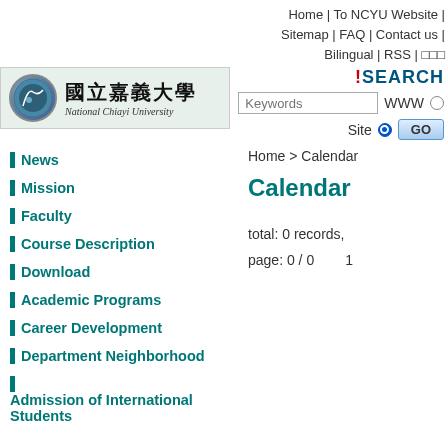Home | To NCYU Website | Sitemap | FAQ | Contact us | Bilingual | RSS | □□□
[Figure (logo): National Chiayi University logo with circular emblem and Chinese/English text]
[Figure (other): Search box with SEARCH label, Keywords input, WWW radio, Site radio selected, and GO button]
Home > Calendar
Calendar
News
Mission
Faculty
Course Description
Download
Academic Programs
Career Development
Department Neighborhood
Admission of International Students
total: 0 records,
page: 0 / 0        1